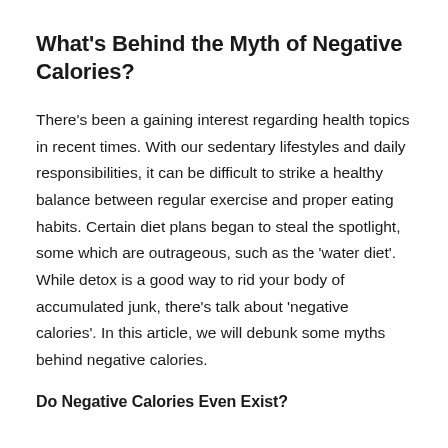What's Behind the Myth of Negative Calories?
There's been a gaining interest regarding health topics in recent times. With our sedentary lifestyles and daily responsibilities, it can be difficult to strike a healthy balance between regular exercise and proper eating habits. Certain diet plans began to steal the spotlight, some which are outrageous, such as the 'water diet'. While detox is a good way to rid your body of accumulated junk, there's talk about 'negative calories'. In this article, we will debunk some myths behind negative calories.
Do Negative Calories Even Exist?